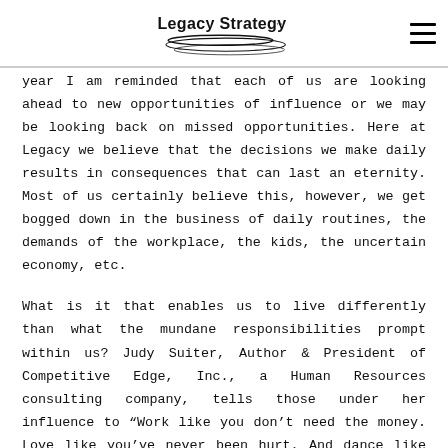Legacy Strategy [logo] [hamburger menu]
year I am reminded that each of us are looking ahead to new opportunities of influence or we may be looking back on missed opportunities. Here at Legacy we believe that the decisions we make daily results in consequences that can last an eternity. Most of us certainly believe this, however, we get bogged down in the business of daily routines, the demands of the workplace, the kids, the uncertain economy, etc.
What is it that enables us to live differently than what the mundane responsibilities prompt within us? Judy Suiter, Author & President of Competitive Edge, Inc., a Human Resources consulting company, tells those under her influence to "Work like you don't need the money. Love like you've never been hurt. And dance like no one is watching!" Embracing the power of our influence requires us to first commit to avoiding the